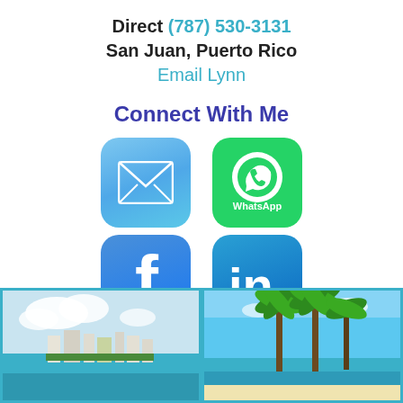Direct (787) 530-3131
San Juan, Puerto Rico
Email Lynn
Connect With Me
[Figure (infographic): Four social media icons: Mail (light blue rounded square), WhatsApp (green rounded square), Facebook (blue rounded square with f logo), LinkedIn (blue rounded square with in logo)]
[Figure (photo): Aerial view of San Juan, Puerto Rico coastline with buildings and turquoise water]
[Figure (photo): Tropical beach scene with tall palm trees and blue sky, beach resort visible in background]